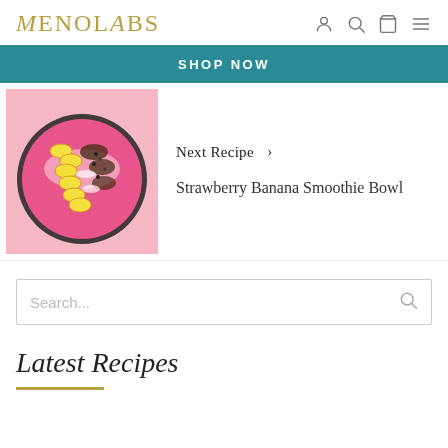MENOLABS
SHOP NOW
[Figure (photo): A smoothie bowl with banana slices, chia seeds, and coconut flakes on a pink background]
Next Recipe >
Strawberry Banana Smoothie Bowl
Search...
Latest Recipes